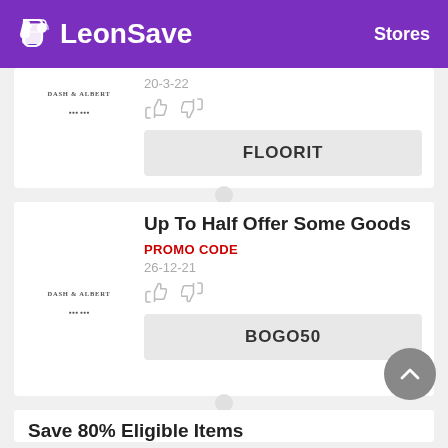LeonSave  Stores
20-3-22
DASH & ALBERT
FLOORIT
Up To Half Offer Some Goods
PROMO CODE
26-12-21
DASH & ALBERT
BOGO50
Save 80% Eligible Items